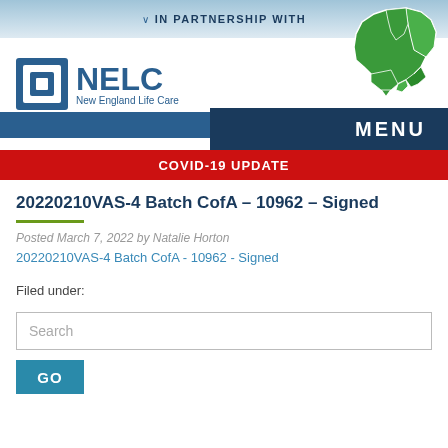IN PARTNERSHIP WITH
[Figure (logo): NELC New England Life Care logo with square icon]
[Figure (map): Green map of New England states]
MENU
COVID-19 UPDATE
20220210VAS-4 Batch CofA – 10962 – Signed
Posted March 7, 2022 by Natalie Horton
20220210VAS-4 Batch CofA - 10962 - Signed
Filed under:
Search